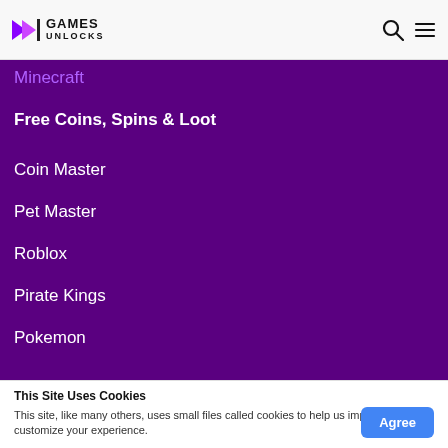Games Unlocks — header navigation with search and menu icons
Minecraft
Free Coins, Spins & Loot
Coin Master
Pet Master
Roblox
Pirate Kings
Pokemon
This Site Uses Cookies
This site, like many others, uses small files called cookies to help us improve and customize your experience.